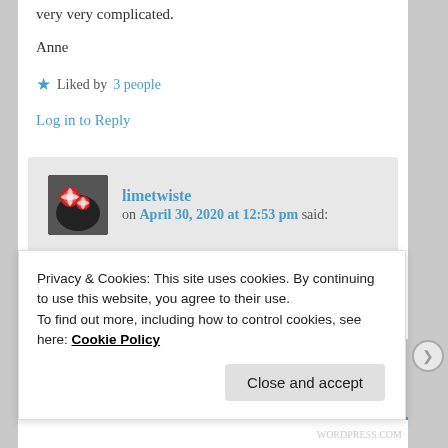very very complicated.
Anne
Liked by 3 people
Log in to Reply
limetwiste on April 30, 2020 at 12:53 pm said:
Thanks for your honesty. I have read Pema Chodron in the past. I like her. Will look her up again. Thanks for pointing me
Privacy & Cookies: This site uses cookies. By continuing to use this website, you agree to their use. To find out more, including how to control cookies, see here: Cookie Policy
Close and accept